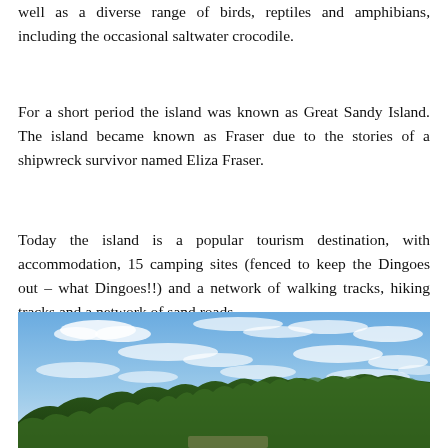well as a diverse range of birds, reptiles and amphibians, including the occasional saltwater crocodile.
For a short period the island was known as Great Sandy Island. The island became known as Fraser due to the stories of a shipwreck survivor named Eliza Fraser.
Today the island is a popular tourism destination, with accommodation, 15 camping sites (fenced to keep the Dingoes out – what Dingoes!!) and a network of walking tracks, hiking tracks and a network of sand roads.
[Figure (photo): Landscape photo showing a blue sky with scattered white clouds over a treeline/hill with tropical vegetation. The scene appears to be Fraser Island or similar coastal Australian landscape.]